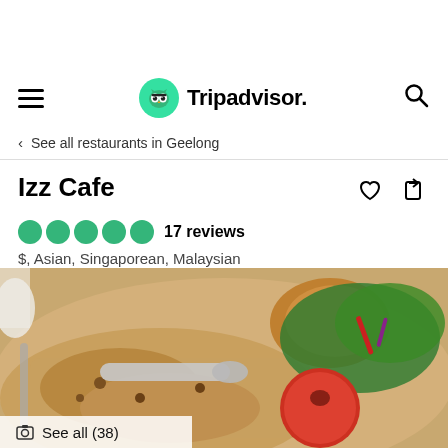[Figure (screenshot): Tripadvisor app navigation bar with hamburger menu, Tripadvisor owl logo in green circle, brand name 'Tripadvisor', and search icon]
< See all restaurants in Geelong
Izz Cafe
5 green bubbles rating, 17 reviews
$, Asian, Singaporean, Malaysian
Closed now: See all hours (i)
[Figure (photo): Close-up photo of a plate of fried rice with vegetables, tomato, salad greens, and a cutlet, with spoon and fork visible]
See all (38)